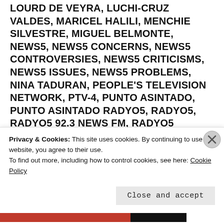LOURD DE VEYRA, LUCHI-CRUZ VALDES, MARICEL HALILI, MENCHIE SILVESTRE, MIGUEL BELMONTE, NEWS5, NEWS5 CONCERNS, NEWS5 CONTROVERSIES, NEWS5 CRITICISMS, NEWS5 ISSUES, NEWS5 PROBLEMS, NINA TADURAN, PEOPLE'S TELEVISION NETWORK, PTV-4, PUNTO ASINTADO, PUNTO ASINTADO RADYO5, RADYO5, RADYO5 92.3 NEWS FM, RADYO5 CONCERNS, RADYO5 CONTROVERSIES, RADYO5 CRITICISMS, RADYO5 ISSUES, RADYO5 PROBLEMS, RAFFY TULFO, SERBISYONG KAPATID, SERBISYONG KAPATID RADYO5, TRABAHO LANG, TRABAHO LANG KASAMA SI CHERIE
Privacy & Cookies: This site uses cookies. By continuing to use this website, you agree to their use.
To find out more, including how to control cookies, see here: Cookie Policy
Close and accept